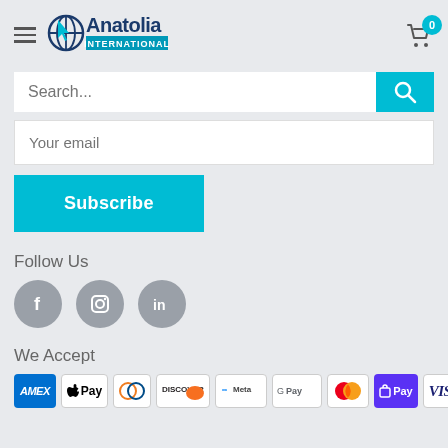[Figure (logo): Anatolia International logo with globe icon and blue text]
Search...
Your email
Subscribe
Follow Us
[Figure (illustration): Social media icons: Facebook (f), Instagram, LinkedIn]
We Accept
[Figure (illustration): Payment method logos: AMEX, Apple Pay, Diners Club, Discover, Meta Pay, Google Pay, Mastercard, Shop Pay, Visa]